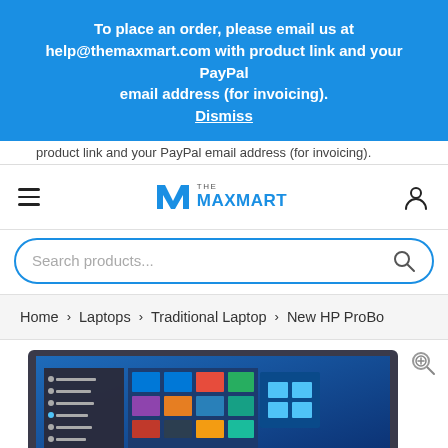To place an order, please email us at help@themaxmart.com with product link and your PayPal email address (for invoicing). Dismiss
product link and your PayPal email address (for invoicing).
the MAXMART — hamburger menu, logo, user icon, search bar
Search products...
Home > Laptops > Traditional Laptop > New HP ProBo...
[Figure (screenshot): HP laptop showing Windows 10 start menu on screen, dark gray laptop body]